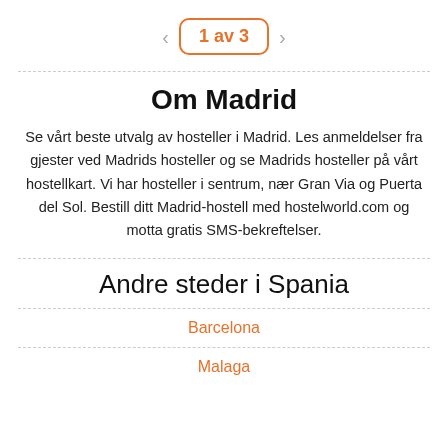1 av 3
Om Madrid
Se vårt beste utvalg av hosteller i Madrid. Les anmeldelser fra gjester ved Madrids hosteller og se Madrids hosteller på vårt hostellkart. Vi har hosteller i sentrum, nær Gran Via og Puerta del Sol. Bestill ditt Madrid-hostell med hostelworld.com og motta gratis SMS-bekreftelser.
Andre steder i Spania
Barcelona
Malaga